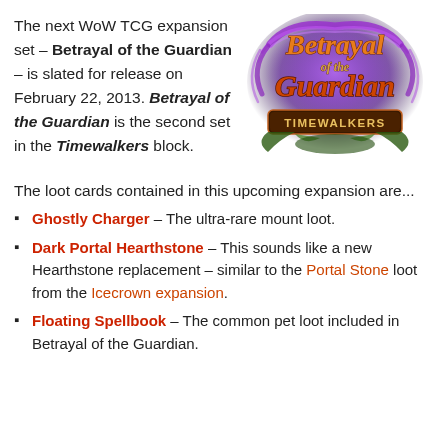The next WoW TCG expansion set – Betrayal of the Guardian – is slated for release on February 22, 2013. Betrayal of the Guardian is the second set in the Timewalkers block.
[Figure (logo): Betrayal of the Guardian Timewalkers logo — orange and red fantasy lettering with purple arcane energy swirls]
The loot cards contained in this upcoming expansion are...
Ghostly Charger – The ultra-rare mount loot.
Dark Portal Hearthstone – This sounds like a new Hearthstone replacement – similar to the Portal Stone loot from the Icecrown expansion.
Floating Spellbook – The common pet loot included in Betrayal of the Guardian.